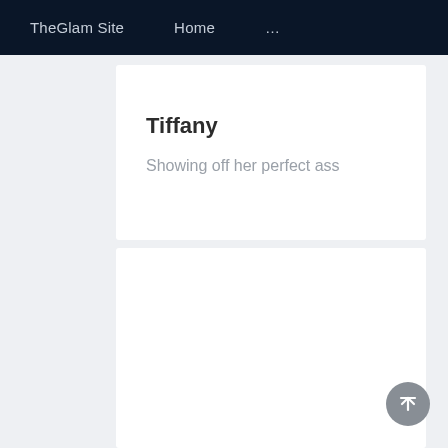TheGlam Site   Home   ...
Tiffany
Showing off her perfect ass
[Figure (other): Empty white card placeholder below Tiffany card]
[Figure (other): Scroll-to-top circular button with upward arrow]